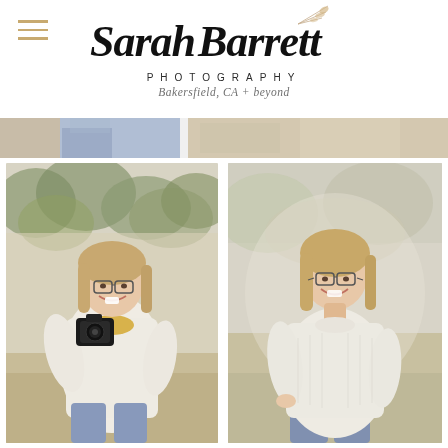[Figure (logo): Sarah Barrett Photography logo with script font name, 'PHOTOGRAPHY' in spaced caps, and 'Bakersfield, CA + beyond' tagline. Decorative leaf/branch element on the right side of the name.]
[Figure (photo): Cropped banner strip showing partial photos of people outdoors — left side shows a person in blue jeans holding something, right side shows an outdoor nature background in warm tones.]
[Figure (photo): Portrait photo of a smiling young woman with long blonde hair, glasses, wearing a white long-sleeve ribbed sweater and yellow scarf, holding a DSLR camera up near her face. Outdoor natural background with blurred green trees.]
[Figure (photo): Portrait photo of the same smiling young woman with long blonde hair, glasses, wearing a white long-sleeve ribbed sweater, hand on hip. Outdoor natural background with blurred warm tones.]